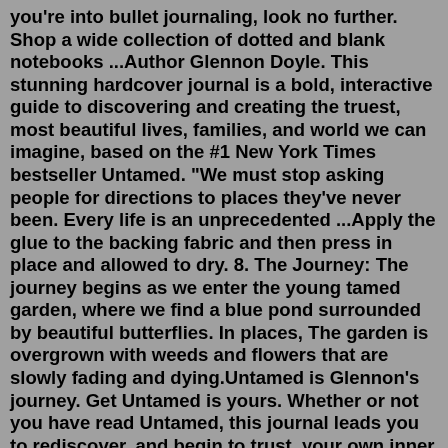you're into bullet journaling, look no further. Shop a wide collection of dotted and blank notebooks ...Author Glennon Doyle. This stunning hardcover journal is a bold, interactive guide to discovering and creating the truest, most beautiful lives, families, and world we can imagine, based on the #1 New York Times bestseller Untamed. "We must stop asking people for directions to places they've never been. Every life is an unprecedented ...Apply the glue to the backing fabric and then press in place and allowed to dry. 8. The Journey: The journey begins as we enter the young tamed garden, where we find a blue pond surrounded by beautiful butterflies. In places, The garden is overgrown with weeds and flowers that are slowly fading and dying.Untamed is Glennon's journey. Get Untamed is yours. Whether or not you have read Untamed, this journal leads you to rediscover, and begin to trust, your own inner voice. It is full of thought-provoking exercises, beloved quotations from Untamed, compelling illustrations, playful and meditative coloring pages, and a new